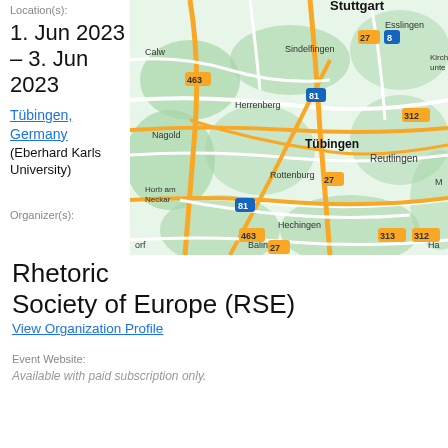Location(s):
1. Jun 2023 – 3. Jun 2023
Tübingen, Germany (Eberhard Karls University)
[Figure (map): Google Maps view showing the Tübingen area in Germany, with surrounding cities including Stuttgart, Esslingen, Sindelfingen, Calw, Herrenberg, Nagold, Rottenburg, Reutlingen, Horb am Neckar, Hechingen, Balingen, and route numbers 27, 8, 81, 312, 463, 313.]
Organizer(s):
Rhetoric Society of Europe (RSE)
View Organization Profile
Event Website:
Available with paid subscription only.